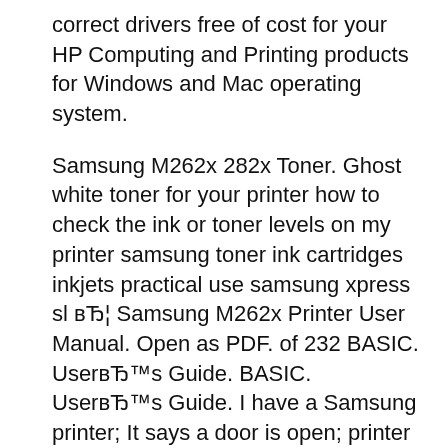correct drivers free of cost for your HP Computing and Printing products for Windows and Mac operating system.
Samsung M262x 282x Toner. Ghost white toner for your printer how to check the ink or toner levels on my printer samsung toner ink cartridges inkjets practical use samsung xpress sl вЂ¦ Samsung M262x Printer User Manual. Open as PDF. of 232 BASIC. UserвЂ™s Guide. BASIC. UserвЂ™s Guide. I have a Samsung printer; It says a door is open; printer not working red light coming on... is the service manual available? need info on back... Sponsored Listings.